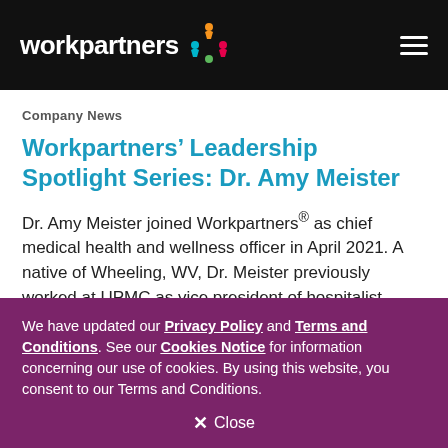workpartners
Company News
Workpartners’ Leadership Spotlight Series: Dr. Amy Meister
Dr. Amy Meister joined Workpartners® as chief medical health and wellness officer in April 2021. A native of Wheeling, WV, Dr. Meister previously worked at UPMC as vice president of hospitalist operations and medical director at the Center for
We have updated our Privacy Policy and Terms and Conditions. See our Cookies Notice for information concerning our use of cookies. By using this website, you consent to our Terms and Conditions.
× Close